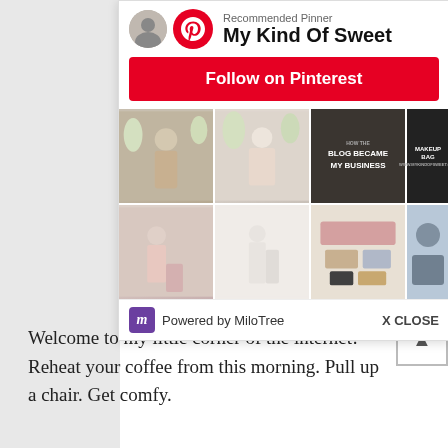[Figure (screenshot): Pinterest MiloTree popup widget showing 'Recommended Pinner My Kind Of Sweet' with a Follow on Pinterest red button, a grid of fashion/lifestyle photos, and a 'Powered by MiloTree' footer with X CLOSE button]
Welcome to my little corner of the internet! Reheat your coffee from this morning. Pull up a chair. Get comfy.